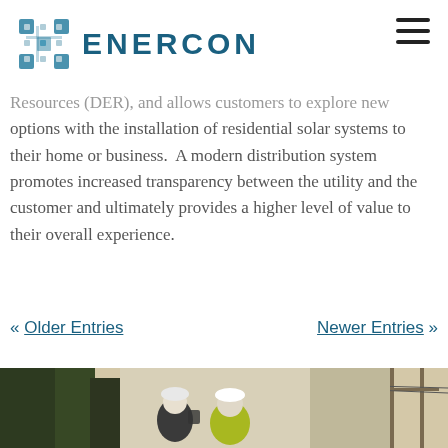ENERCON
Resources (DER), and allows customers to explore new options with the installation of residential solar systems to their home or business.  A modern distribution system promotes increased transparency between the utility and the customer and ultimately provides a higher level of value to their overall experience.
« Older Entries   Newer Entries »
[Figure (photo): Two utility workers in safety gear including hard hats and high-visibility vests working outdoors, with utility poles and trees visible in the background.]